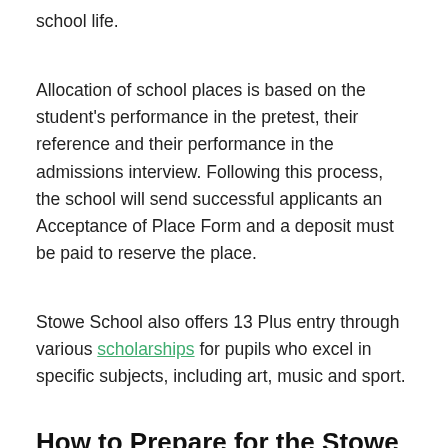school life.
Allocation of school places is based on the student's performance in the pretest, their reference and their performance in the admissions interview. Following this process, the school will send successful applicants an Acceptance of Place Form and a deposit must be paid to reserve the place.
Stowe School also offers 13 Plus entry through various scholarships for pupils who excel in specific subjects, including art, music and sport.
How to Prepare for the Stowe School Pretest